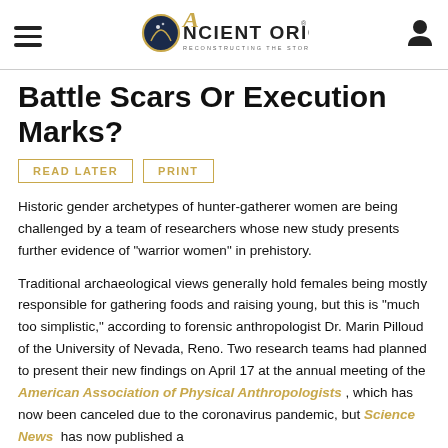Ancient Origins — Reconstructing the story of humanity's past
Battle Scars Or Execution Marks?
READ LATER
PRINT
Historic gender archetypes of hunter-gatherer women are being challenged by a team of researchers whose new study presents further evidence of "warrior women" in prehistory.
Traditional archaeological views generally hold females being mostly responsible for gathering foods and raising young, but this is "much too simplistic," according to forensic anthropologist Dr. Marin Pilloud of the University of Nevada, Reno. Two research teams had planned to present their new findings on April 17 at the annual meeting of the American Association of Physical Anthropologists , which has now been canceled due to the coronavirus pandemic, but Science News has now published a